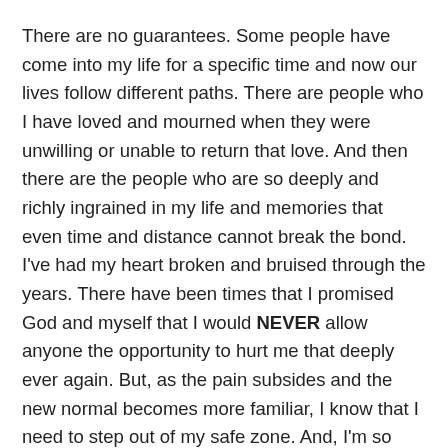There are no guarantees. Some people have come into my life for a specific time and now our lives follow different paths. There are people who I have loved and mourned when they were unwilling or unable to return that love. And then there are the people who are so deeply and richly ingrained in my life and memories that even time and distance cannot break the bond. I've had my heart broken and bruised through the years. There have been times that I promised God and myself that I would NEVER allow anyone the opportunity to hurt me that deeply ever again. But, as the pain subsides and the new normal becomes more familiar, I know that I need to step out of my safe zone. And, I'm so glad I haven't given up on loving and caring about others. For all the tears and pain, I've also experienced so much love and joy.